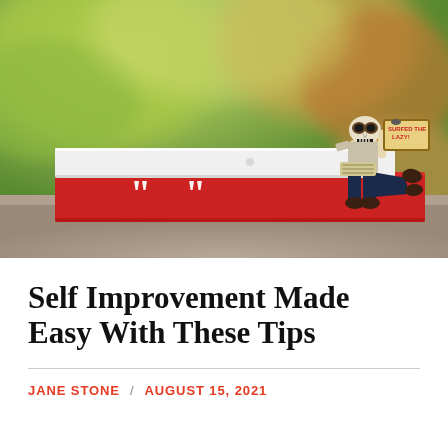[Figure (photo): A skeleton figurine wearing glasses and lounging at a laptop keyboard, perched on top of two stacked books — one white and one red with white quotation mark symbols — photographed outdoors with a blurred green background.]
Self Improvement Made Easy With These Tips
JANE STONE / AUGUST 15, 2021